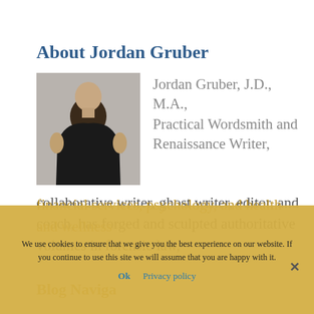About Jordan Gruber
[Figure (photo): Portrait photo of Jordan Gruber, a muscular man in a black t-shirt against a grey background]
Jordan Gruber, J.D., M.A., Practical Wordsmith and Renaissance Writer, collaborative writer, ghost writer, editor, and coach, has forged and sculpted authoritative volumes in forensic law, financial services, psychology, and health and wellness
Blog Navigation
We use cookies to ensure that we give you the best experience on our website. If you continue to use this site we will assume that you are happy with it.
Ok   Privacy policy